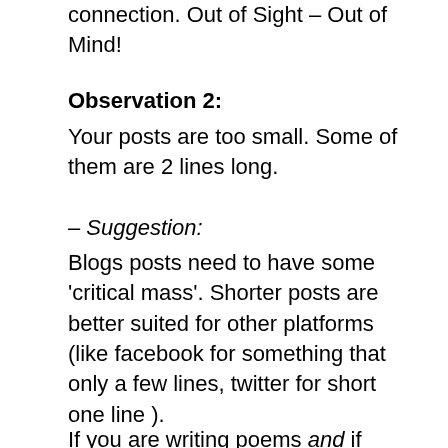connection. Out of Sight – Out of Mind!
Observation 2:
Your posts are too small. Some of them are 2 lines long.
– Suggestion:
Blogs posts need to have some 'critical mass'. Shorter posts are better suited for other platforms (like facebook for something that only a few lines, twitter for short one line ).
If you are writing poems and if